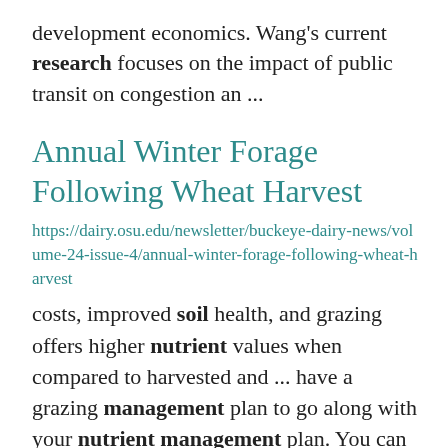development economics. Wang's current research focuses on the impact of public transit on congestion an ...
Annual Winter Forage Following Wheat Harvest
https://dairy.osu.edu/newsletter/buckeye-dairy-news/volume-24-issue-4/annual-winter-forage-following-wheat-harvest
costs, improved soil health, and grazing offers higher nutrient values when compared to harvested and ... have a grazing management plan to go along with your nutrient management plan. You can do this with ... a few things that need to be considered. Because there are things that ...